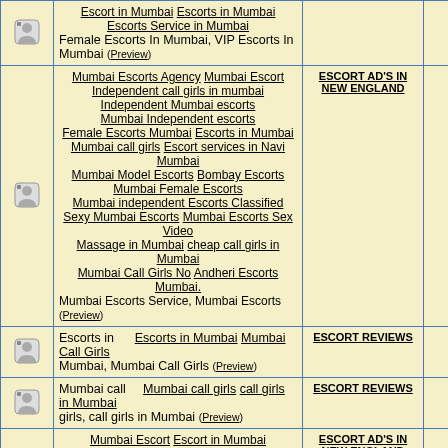|  | Title/Keywords | Category | Replies |
| --- | --- | --- | --- |
| [icon] | Escort in Mumbai Escorts in Mumbai Escorts Service in Mumbai Female Escorts In Mumbai, VIP Escorts In Mumbai (Preview) |  |  |
| [icon] | Mumbai Escorts Agency Mumbai Escort Independent call girls in mumbai Independent Mumbai escorts Mumbai Independent escorts Female Escorts Mumbai Escorts in Mumbai Mumbai call girls Escort services in Navi Mumbai Mumbai Model Escorts Bombay Escorts Mumbai Female Escorts Mumbai independent Escorts Classified Sexy Mumbai Escorts Mumbai Escorts Sex Video Massage in Mumbai cheap call girls in Mumbai Mumbai Call Girls No Andheri Escorts Mumbai. Mumbai Escorts Service, Mumbai Escorts (Preview) | ESCORT AD'S IN NEW ENGLAND | 0 |
| [icon] | Escorts in Mumbai Call Girls Escorts in Mumbai Mumbai Call Girls Mumbai Call Girls (Preview) | ESCORT REVIEWS | 2 |
| [icon] | Mumbai call girls call girls in Mumbai Mumbai call girls, call girls in Mumbai (Preview) | ESCORT REVIEWS | 2 |
| [icon] | Mumbai Escort Escort in Mumbai Escort Service in Mumbai Independent Female Escort in Mumbai Mumbai Call Girls High Profile Call Girls in Mumbai That Fit To Your Budget (Preview) | ESCORT AD'S IN NEW ENGLAND | 0 |
| [icon] | mumbai escorts mumbai call girls mumbai escorts service Mumbai Escorts Are Looking For A Super Active Shows Sex Companion... | GENERAL DISCUSSION FORUM FOR PROVIDERS | 1 |